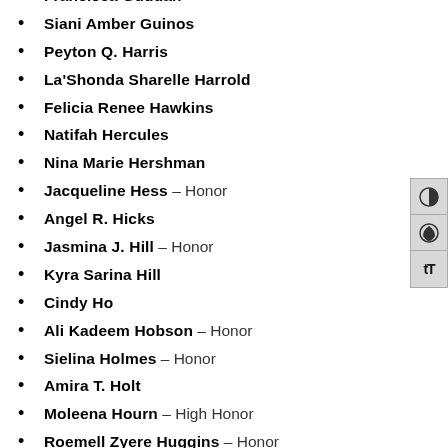Francisca Guddah
Siani Amber Guinos
Peyton Q. Harris
La'Shonda Sharelle Harrold
Felicia Renee Hawkins
Natifah Hercules
Nina Marie Hershman
Jacqueline Hess – Honor
Angel R. Hicks
Jasmina J. Hill – Honor
Kyra Sarina Hill
Cindy Ho
Ali Kadeem Hobson – Honor
Sielina Holmes – Honor
Amira T. Holt
Moleena Hourn – High Honor
Roemell Zyere Huggins – Honor
Tiffanie M. Hughes – Honor